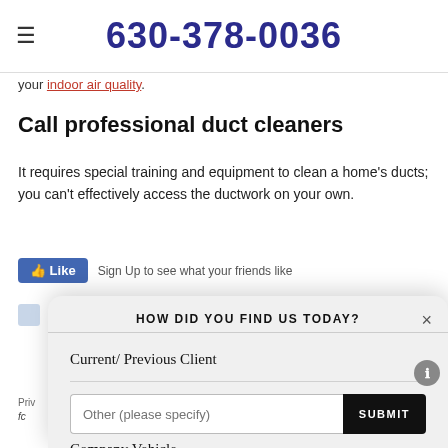630-378-0036
your indoor air quality.
Call professional duct cleaners
It requires special training and equipment to clean a home's ducts; you can't effectively access the ductwork on your own.
[Figure (screenshot): Modal dialog asking 'HOW DID YOU FIND US TODAY?' with options: Current/Previous Client, Yellow Pages, Company Vehicle, and an 'Other (please specify)' text input with a SUBMIT button. A close (X) button is in the top right.]